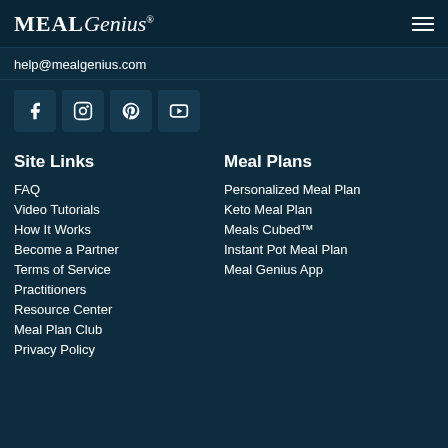MealGenius®
help@mealgenius.com
[Figure (infographic): Social media icons row: Facebook, Instagram, Pinterest, YouTube]
Site Links
Meal Plans
FAQ
Personalized Meal Plan
Video Tutorials
Keto Meal Plan
How It Works
Meals Cubed™
Become a Partner
Instant Pot Meal Plan
Terms of Service
Meal Genius App
Practitioners
Resource Center
Meal Plan Club
Privacy Policy